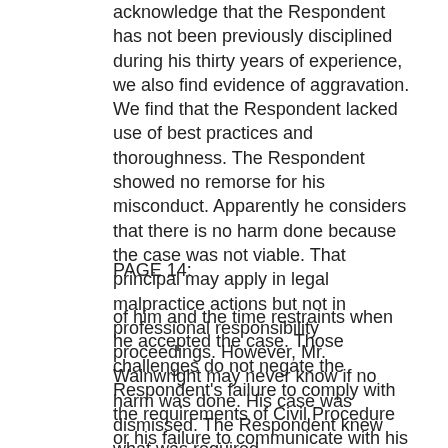acknowledge that the Respondent has not been previously disciplined during his thirty years of experience, we also find evidence of aggravation. We find that the Respondent lacked use of best practices and thoroughness. The Respondent showed no remorse for his misconduct. Apparently he considers that there is no harm done because the case was not viable. That principal may apply in legal malpractice actions but not in professional responsibility proceedings. However, Mr. Wainwright may never know if no harm was done. His case was dismissed. The Respondent knew what was required
PAGE 14:
of him and the time restraints when he accepted the case. Those challenges do not negate the Respondent's failure to comply with the requirements of Civil Procedure or his failure to communicate with his client. Therefore, we find that discipline is warranted.